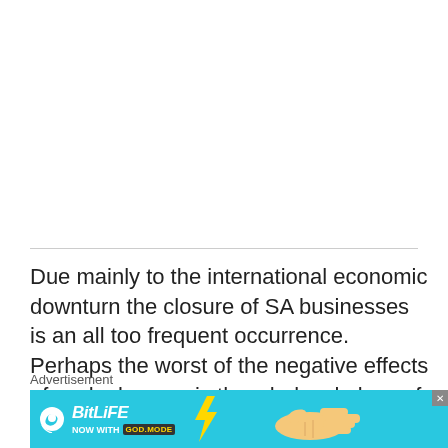Due mainly to the international economic downturn the closure of SA businesses is an all too frequent occurrence. Perhaps the worst of the negative effects of such closures is the wholesale loss of the jobs of the employees of the business. Sometimes the struggling company is taken over instead of being forced to go into liquidation. The advantage of such a takeover is that it can avoid the loss of jobs caused by a liquidation
Advertisement
[Figure (screenshot): BitLife advertisement banner with 'NOW WITH GOD.MODE' text and hand pointing graphic]
RA) strongly
ally) by